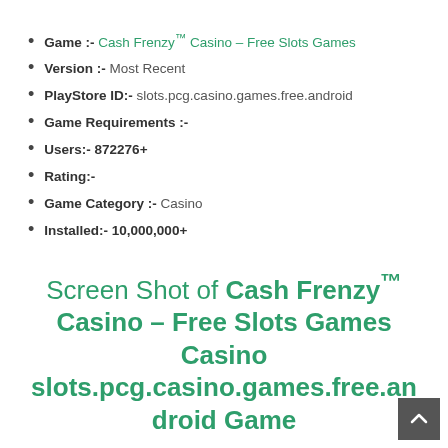Game :- Cash Frenzy™ Casino – Free Slots Games
Version :- Most Recent
PlayStore ID:- slots.pcg.casino.games.free.android
Game Requirements :-
Users:- 872276+
Rating:-
Game Category :- Casino
Installed:- 10,000,000+
Screen Shot of Cash Frenzy™ Casino – Free Slots Games Casino slots.pcg.casino.games.free.android Game